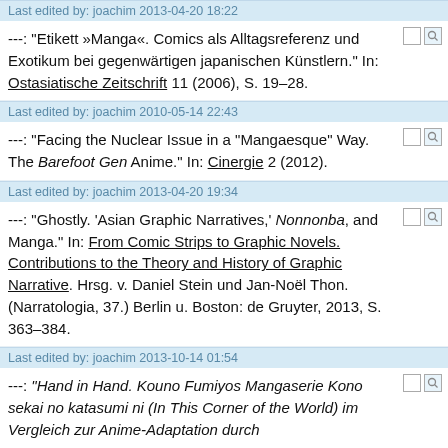Last edited by: joachim 2013-04-20 18:22
---: "Etikett »Manga«. Comics als Alltagsreferenz und Exotikum bei gegenwärtigen japanischen Künstlern." In: Ostasiatische Zeitschrift 11 (2006), S. 19–28.
Last edited by: joachim 2010-05-14 22:43
---: "Facing the Nuclear Issue in a "Mangaesque" Way. The Barefoot Gen Anime." In: Cinergie 2 (2012).
Last edited by: joachim 2013-04-20 19:34
---: "Ghostly. 'Asian Graphic Narratives,' Nonnonba, and Manga." In: From Comic Strips to Graphic Novels. Contributions to the Theory and History of Graphic Narrative. Hrsg. v. Daniel Stein und Jan-Noël Thon. (Narratologia, 37.) Berlin u. Boston: de Gruyter, 2013, S. 363–384.
Last edited by: joachim 2013-10-14 01:54
---: "Hand in Hand. Kouno Fumiyos Mangaserie Kono sekai no katasumi ni (In This Corner of the World) im Vergleich zur Anime-Adaptation durch